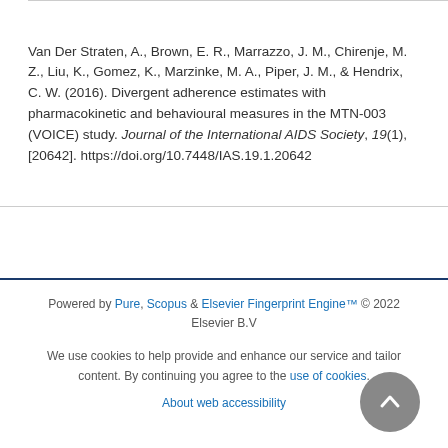Van Der Straten, A., Brown, E. R., Marrazzo, J. M., Chirenje, M. Z., Liu, K., Gomez, K., Marzinke, M. A., Piper, J. M., & Hendrix, C. W. (2016). Divergent adherence estimates with pharmacokinetic and behavioural measures in the MTN-003 (VOICE) study. Journal of the International AIDS Society, 19(1), [20642]. https://doi.org/10.7448/IAS.19.1.20642
Powered by Pure, Scopus & Elsevier Fingerprint Engine™ © 2022 Elsevier B.V
We use cookies to help provide and enhance our service and tailor content. By continuing you agree to the use of cookies
About web accessibility